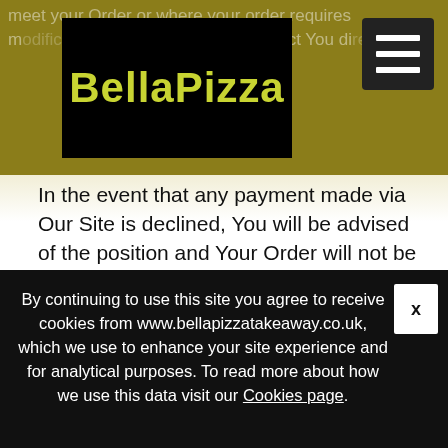[Figure (logo): BellaPizza logo — yellow text on black background]
meet your Order or where your order requires modification, the restaurant will contact You directly.
In the event that any payment made via Our Site is declined, You will be advised of the position and Your Order will not be further processed.
If the restaurant rejects your Order, You will be notified via email or telephone call. There are circumstances where a restaurant may not be able to process and deliver Your Order in a timely manner and may be required to reject it.
You will receive an estimated delivery time on your
By continuing to use this site you agree to receive cookies from www.bellapizzatakeaway.co.uk, which we use to enhance your site experience and for analytical purposes. To read more about how we use this data visit our Cookies page.